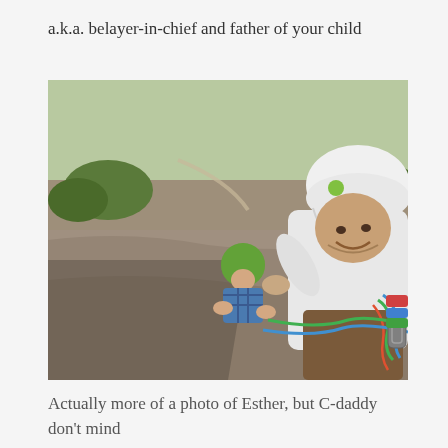a.k.a. belayer-in-chief and father of your child
[Figure (photo): Two rock climbers on a rocky cliff face. In the foreground, a smiling man wearing a white helmet and white long-sleeve shirt with climbing gear and colorful ropes. In the background, a person wearing a green helmet and blue plaid shirt climbing up the rock. Green shrubs and dry terrain visible below.]
Actually more of a photo of Esther, but C-daddy don't mind